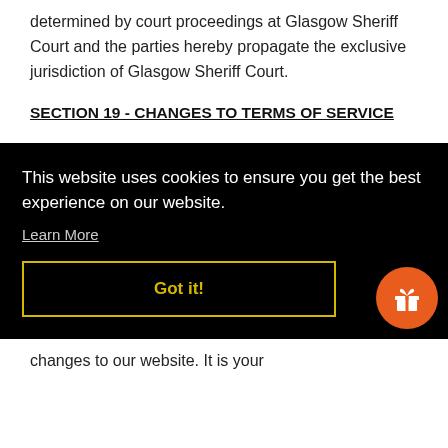determined by court proceedings at Glasgow Sheriff Court and the parties hereby propagate the exclusive jurisdiction of Glasgow Sheriff Court.
SECTION 19 - CHANGES TO TERMS OF SERVICE
This website uses cookies to ensure you get the best experience on our website.
Learn More
Got it!
changes to our website. It is your